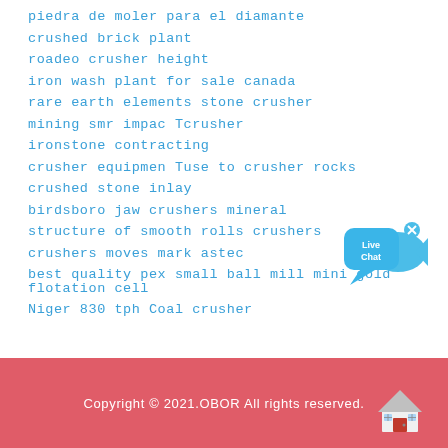piedra de moler para el diamante
crushed brick plant
roadeo crusher height
iron wash plant for sale canada
rare earth elements stone crusher
mining smr impac Tcrusher
ironstone contracting
crusher equipmen Tuse to crusher rocks
crushed stone inlay
birdsboro jaw crushers mineral
structure of smooth rolls crushers
crushers moves mark astec
best quality pex small ball mill mini gold flotation cell
Niger 830 tph Coal crusher
[Figure (illustration): Live Chat bubble icon with blue speech bubble and fish shape, with an X close button]
Copyright © 2021.OBOR All rights reserved.